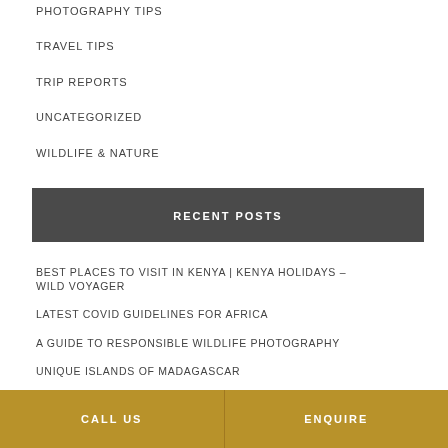PHOTOGRAPHY TIPS
TRAVEL TIPS
TRIP REPORTS
UNCATEGORIZED
WILDLIFE & NATURE
RECENT POSTS
BEST PLACES TO VISIT IN KENYA | KENYA HOLIDAYS – WILD VOYAGER
LATEST COVID GUIDELINES FOR AFRICA
A GUIDE TO RESPONSIBLE WILDLIFE PHOTOGRAPHY
UNIQUE ISLANDS OF MADAGASCAR
CALL US | ENQUIRE